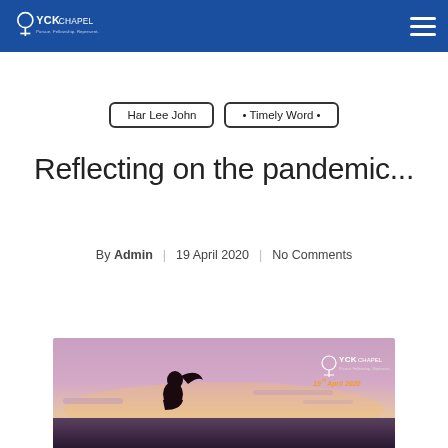YCK Chapel
Har Lee John
• Timely Word •
Reflecting on the pandemic...
By Admin | 19 April 2020 | No Comments
[Figure (photo): Silhouette of a person against a sunset sky, with YCK Chapel logo and date 19th April 2020 in the corner]